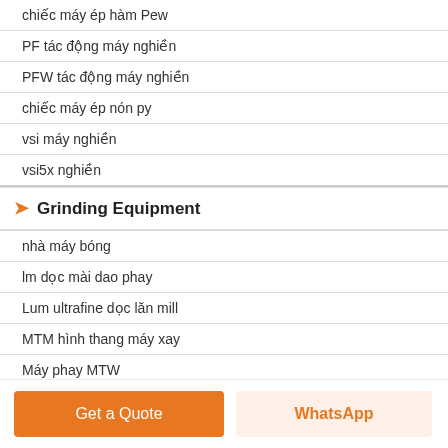chiếc máy ép hàm Pew
PF tác động máy nghiền
PFW tác động máy nghiền
chiếc máy ép nón py
vsi máy nghiền
vsi5x nghiền
Grinding Equipment
nhà máy bóng
lm dọc mài dao phay
Lum ultrafine dọc lăn mill
MTM hình thang máy xay
Máy phay MTW
nhà máy raymond
SCM ultrafine mill
t130x tăng cường ultrafine mill
Mobile Crushing Plant
Get a Quote
WhatsApp